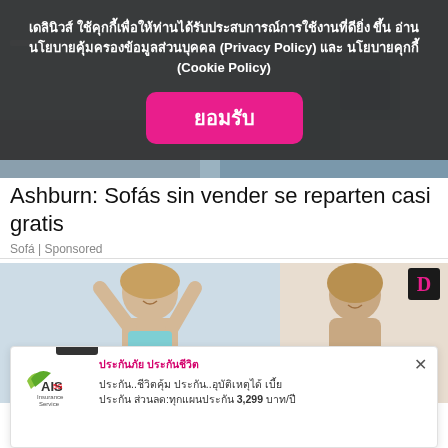เดลินิวส์ ใช้คุกกี้เพื่อให้ท่านได้รับประสบการณ์การใช้งานที่ดียิ่งขึ้น อ่านนโยบายคุ้มครองข้อมูลส่วนบุคคล (Privacy Policy) และ นโยบายคุกกี้ (Cookie Policy)
ยอมรับ
[Figure (photo): Background image partially visible beneath cookie consent overlay, appears to show an interior or product scene]
Ashburn: Sofás sin vender se reparten casi gratis
Sofá | Sponsored
[Figure (photo): Two smiling women with long blonde hair. One with arms raised wearing a bikini top outdoors, another indoors smiling broadly. A 'D' logo visible in upper right corner.]
ประกันภัย ประกันชีวิต
ประกัน..ชีวิตคุ้ม ประกัน..อุบัติเหตุได้ เบี้ยประกัน ส่วนลด:ทุกแผนประกัน 3,299 บาท/ปี